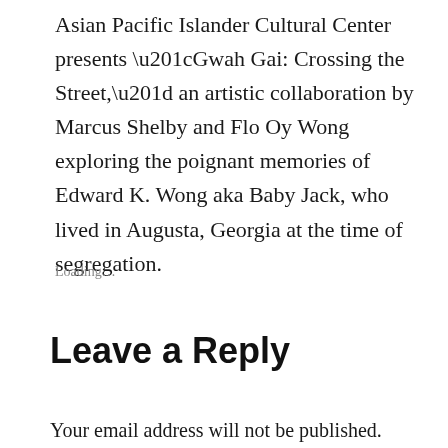Asian Pacific Islander Cultural Center presents “Gwah Gai: Crossing the Street,” an artistic collaboration by Marcus Shelby and Flo Oy Wong exploring the poignant memories of Edward K. Wong aka Baby Jack, who lived in Augusta, Georgia at the time of segregation.
Loading…
Leave a Reply
Your email address will not be published.